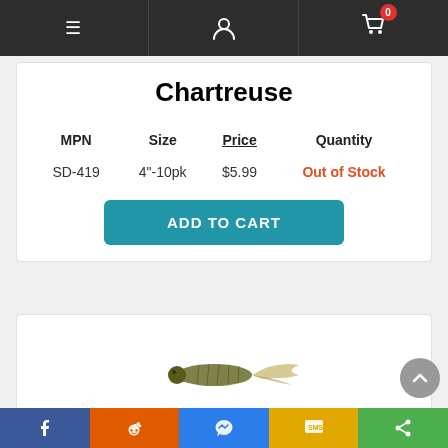Navigation bar with hamburger menu, user icon, and cart icon with badge 0
Chartreuse
| MPN | Size | Price | Quantity |
| --- | --- | --- | --- |
| SD-419 | 4"-10pk | $5.99 | Out of Stock |
ADD TO CART
[Figure (photo): Fishing lure (soft plastic worm/grub) in chartreuse/olive color]
Social sharing bar: Facebook, Reddit, Messenger, SMS, Share